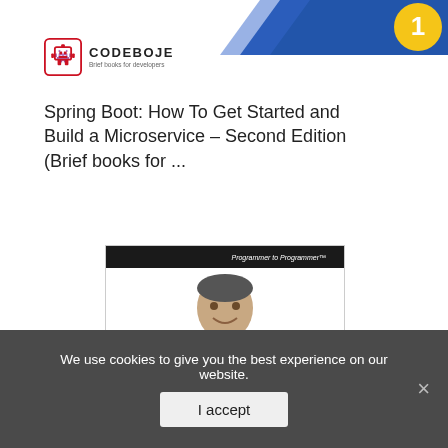[Figure (logo): Codeboje logo with icon and text 'CODEBOJE - Brief books for developers']
Spring Boot: How To Get Started and Build a Microservice – Second Edition (Brief books for ...
[Figure (photo): Book cover of 'Beginning Cryptography with Java' from Wrox (Programmer to Programmer series). Shows a man smiling on white background, with red lower section containing yellow text 'Cryptography with Java' and white text 'Beginning'.]
We use cookies to give you the best experience on our website.
I accept